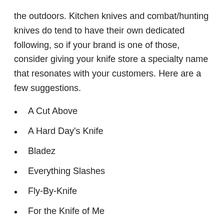the outdoors. Kitchen knives and combat/hunting knives do tend to have their own dedicated following, so if your brand is one of those, consider giving your knife store a specialty name that resonates with your customers. Here are a few suggestions.
A Cut Above
A Hard Day's Knife
Bladez
Everything Slashes
Fly-By-Knife
For the Knife of Me
Have a Knife Day
Knife Going